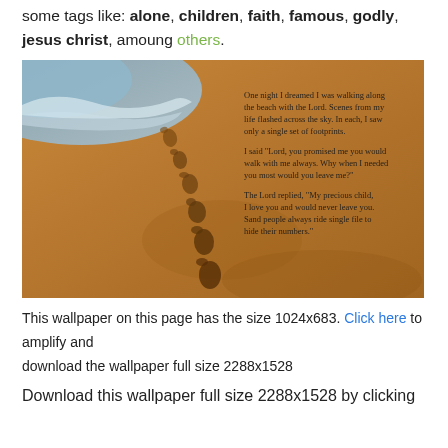some tags like: alone, children, faith, famous, godly, jesus christ, amoung others.
[Figure (photo): Beach photo showing footprints in sand along the shoreline with the Footprints poem text overlaid on the right side of the image.]
This wallpaper on this page has the size 1024x683. Click here to amplify and download the wallpaper full size 2288x1528
Download this wallpaper full size 2288x1528 by clicking